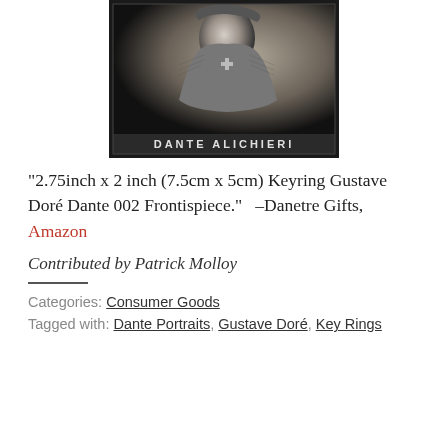[Figure (illustration): Engraved portrait of Dante Alighieri, shown from chest up, wearing draped robes, with label 'DANTE ALICHIERI' at the bottom of the frame.]
“2.75inch x 2 inch (7.5cm x 5cm) Keyring Gustave Doré Dante 002 Frontispiece.” –Danetre Gifts, Amazon
Contributed by Patrick Molloy
Categories: Consumer Goods
Tagged with: Dante Portraits, Gustave Doré, Key Rings